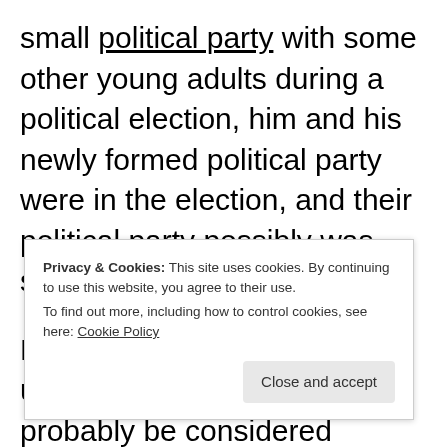small political party with some other young adults during a political election, him and his newly formed political party were in the election, and their political party possibly was similar to the Green Party.
His party seemed to be made up of activists who would probably be considered politically left/far left, one part of their political platform
Privacy & Cookies: This site uses cookies. By continuing to use this website, you agree to their use. To find out more, including how to control cookies, see here: Cookie Policy